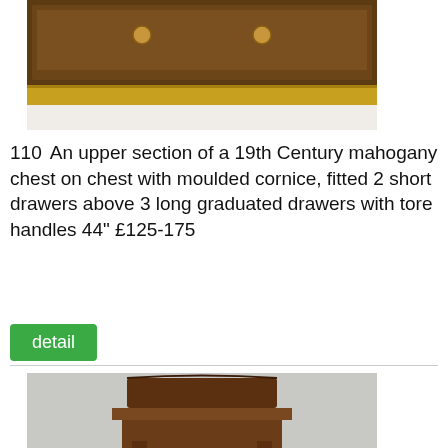[Figure (photo): Photo of upper section of a mahogany chest on chest, showing drawers with knobs, antique furniture piece on white background]
110  An upper section of a 19th Century mahogany chest on chest with moulded cornice, fitted 2 short drawers above 3 long graduated drawers with tore handles 44" £125-175
detail
[Figure (photo): Photo of a Victorian style mahogany chiffonier or side cabinet with decorative back panel, on grey background]